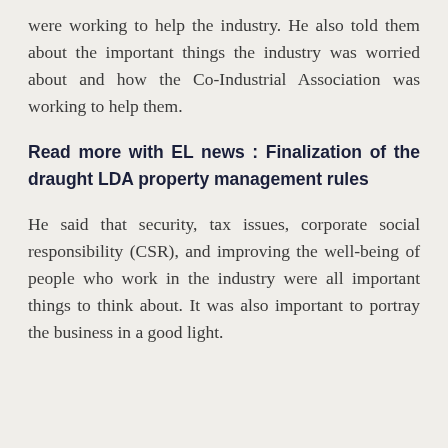were working to help the industry. He also told them about the important things the industry was worried about and how the Co-Industrial Association was working to help them.
Read more with EL news : Finalization of the draught LDA property management rules
He said that security, tax issues, corporate social responsibility (CSR), and improving the well-being of people who work in the industry were all important things to think about. It was also important to portray the business in a good light.